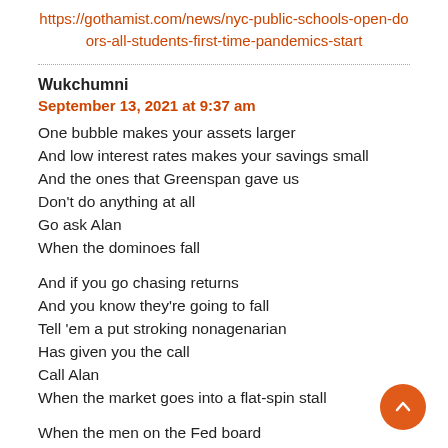https://gothamist.com/news/nyc-public-schools-open-doors-all-students-first-time-pandemics-start
Wukchumni
September 13, 2021 at 9:37 am
One bubble makes your assets larger
And low interest rates makes your savings small
And the ones that Greenspan gave us
Don't do anything at all
Go ask Alan
When the dominoes fall

And if you go chasing returns
And you know they're going to fall
Tell 'em a put stroking nonagenarian
Has given you the call
Call Alan
When the market goes into a flat-spin stall

When the men on the Fed board
Get up in Jackson Hole
And you've just had some kind of mushroom
And your mind is moving low
Go ask Alan